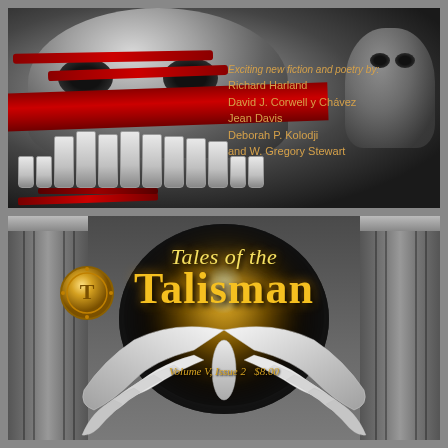[Figure (illustration): Magazine cover showing a metallic skull with large teeth, red ribbon/band across it, decorated with red stripes, on a dark background. Cover art for a horror/science fiction magazine.]
Exciting new fiction and poetry by: Richard Harland David J. Corwell y Chávez Jean Davis Deborah P. Kolodji and W. Gregory Stewart
[Figure (illustration): Magazine cover for 'Tales of the Talisman, Volume V, Issue 2, $8.00'. Features large golden text title over a dark circular background with a glowing moon/sun orb, flanked by stone columns, and white angel wings at the bottom. A golden medallion with the letter T and decorative design appears on the left.]
Tales of the Talisman
Volume V, Issue 2   $8.00